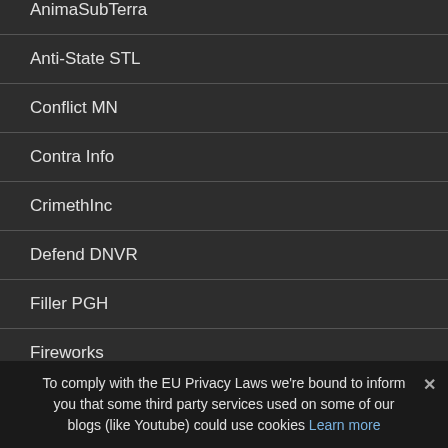AnimaSubTerra
Anti-State STL
Conflict MN
Contra Info
CrimethInc
Defend DNVR
Filler PGH
Fireworks
Insurrection News
To comply with the EU Privacy Laws we’re bound to inform you that some third party services used on some of our blogs (like Youtube) could use cookies Learn more